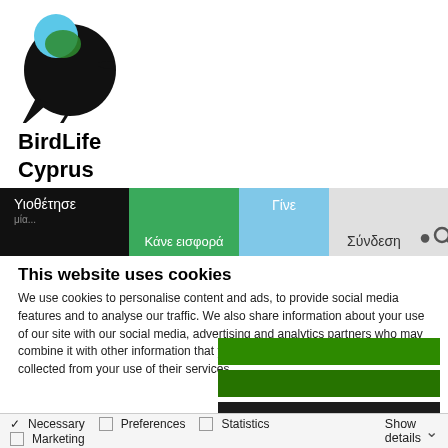[Figure (logo): BirdLife Cyprus logo — a stylized black bird with a blue and green circle on its head]
BirdLife Cyprus
[Figure (screenshot): Navigation bar with dark, green, light-blue, and gray sections containing Greek text: Υιοθέτησε, Κάνε εισφορά, Γίνε, Σύνδεση, and a search icon]
This website uses cookies
We use cookies to personalise content and ads, to provide social media features and to analyse our traffic. We also share information about your use of our site with our social media, advertising and analytics partners who may combine it with other information that you've provided to them or that they've collected from your use of their services.
[Figure (other): Three horizontal colored bars: two dark green and one near-black, representing cookie category toggles]
☑ Necessary  ☐ Preferences  ☐ Statistics  ☐ Marketing   Show details ∨